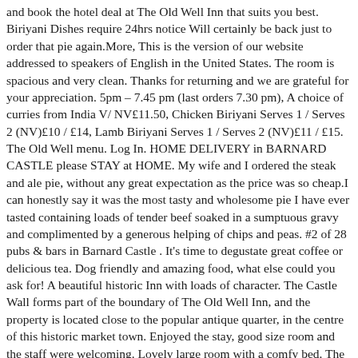and book the hotel deal at The Old Well Inn that suits you best. Biriyani Dishes require 24hrs notice Will certainly be back just to order that pie again.More, This is the version of our website addressed to speakers of English in the United States. The room is spacious and very clean. Thanks for returning and we are grateful for your appreciation. 5pm – 7.45 pm (last orders 7.30 pm), A choice of curries from India V/ NV£11.50, Chicken Biriyani Serves 1 / Serves 2 (NV)£10 / £14, Lamb Biriyani Serves 1 / Serves 2 (NV)£11 / £15. The Old Well menu. Log In. HOME DELIVERY in BARNARD CASTLE please STAY at HOME. My wife and I ordered the steak and ale pie, without any great expectation as the price was so cheap.I can honestly say it was the most tasty and wholesome pie I have ever tasted containing loads of tender beef soaked in a sumptuous gravy and complimented by a generous helping of chips and peas. #2 of 28 pubs & bars in Barnard Castle . It's time to degustate great coffee or delicious tea. Dog friendly and amazing food, what else could you ask for! A beautiful historic Inn with loads of character. The Castle Wall forms part of the boundary of The Old Well Inn, and the property is located close to the popular antique quarter, in the centre of this historic market town. Enjoyed the stay, good size room and the staff were welcoming. Lovely large room with a comfy bed. The bed was comfortable and the room was clean - we slept very well! Lovely big room and the food was lovely. Tuna & sweetcorn with mayonnaise / Baked beans and cheese (can be spiced up! It was a shame the courtyard was full of junk furniture, it could be a nice seating area in the summer. With 10 spacious en-suite rooms with wifi enabled smart TV's, you will enjoy your B & B break with us. Thank you so much for your appreciation. The 17th-century Old Well Inn is in the town of Barnard Castle, with a traditional bar and a...